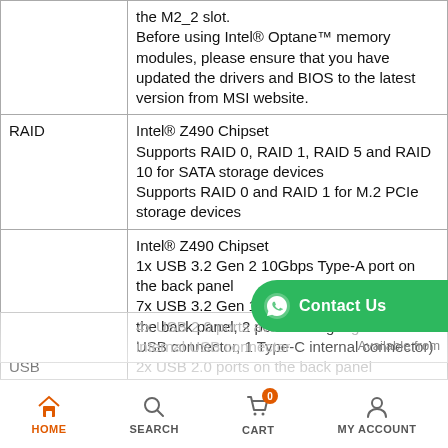| Feature | Details |
| --- | --- |
|  | the M2_2 slot.
Before using Intel® Optane™ memory modules, please ensure that you have updated the drivers and BIOS to the latest version from MSI website. |
| RAID | Intel® Z490 Chipset
Supports RAID 0, RAID 1, RAID 5 and RAID 10 for SATA storage devices
Supports RAID 0 and RAID 1 for M.2 PCIe storage devices |
| USB | Intel® Z490 Chipset
1x USB 3.2 Gen 2 10Gbps Type-A port on the back panel
7x USB 3.2 Gen 1 5Gbps (4 Type-A ports on the back panel, 2 ports through the internal USB connector, 1 Type-C internal connector)
2x USB 2.0 ports on the back panel
4x USB 2.0 ports available through the internal USB connector |
[Figure (other): Green WhatsApp-style Contact Us button overlay on the right edge]
HOME   SEARCH   CART (0)   MY ACCOUNT